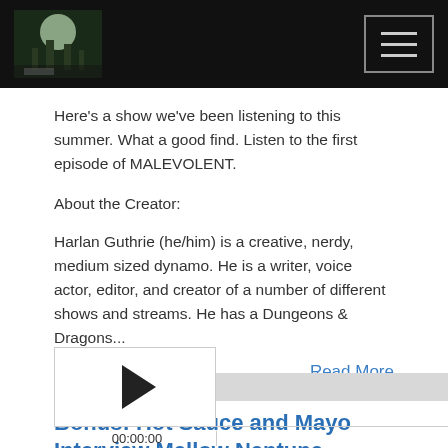[Logo image] [Hamburger menu button]
Here's a show we've been listening to this summer. What a good find. Listen to the first episode of MALEVOLENT.
About the Creator:
Harlan Guthrie (he/him) is a creative, nerdy, medium sized dynamo. He is a writer, voice actor, editor, and creator of a number of different shows and streams. He has a Dungeons & Dragons...
Read More
Bonus: Hot Sauce and Mayo Interview Mellow Neptune Waters
[Figure (other): Audio player with play button and progress bar]
00:00:00